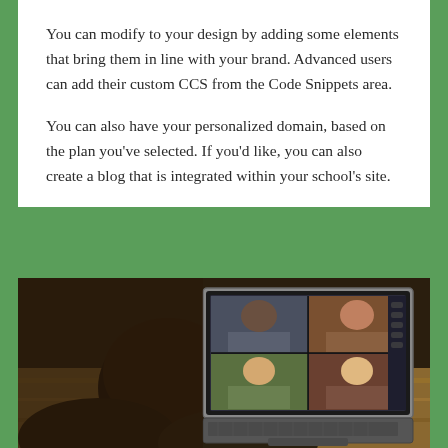You can modify to your design by adding some elements that bring them in line with your brand. Advanced users can add their custom CCS from the Code Snippets area.
You can also have your personalized domain, based on the plan you've selected. If you'd like, you can also create a blog that is integrated within your school's site.
[Figure (photo): A student viewed from behind, using a tablet/laptop computer with a keyboard attachment on a wooden desk. The screen shows a video conference call with four participants in a 2x2 grid layout.]